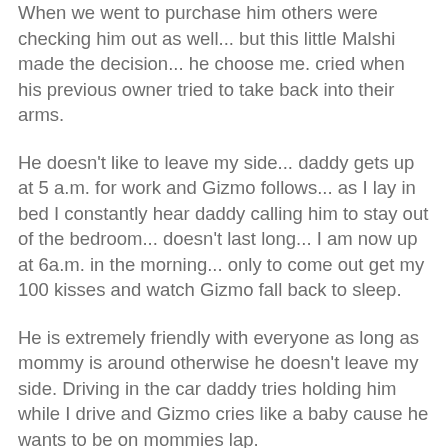When we went to purchase him others were checking him out as well... but this little Malshi made the decision... he choose me. cried when his previous owner tried to take back into their arms.
He doesn't like to leave my side... daddy gets up at 5 a.m. for work and Gizmo follows... as I lay in bed I constantly hear daddy calling him to stay out of the bedroom... doesn't last long... I am now up at 6a.m. in the morning... only to come out get my 100 kisses and watch Gizmo fall back to sleep.
He is extremely friendly with everyone as long as mommy is around otherwise he doesn't leave my side. Driving in the car daddy tries holding him while I drive and Gizmo cries like a baby cause he wants to be on mommies lap.
I am disabled and my last of four children just